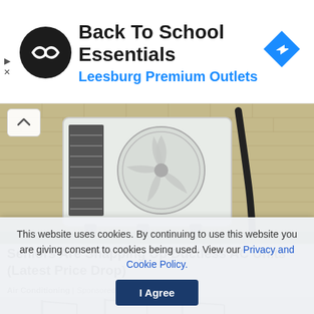[Figure (logo): Back To School Essentials ad banner with black circular logo with double arrows, 'Back To School Essentials' heading, 'Leesburg Premium Outlets' subtitle in blue, and blue diamond navigation icon on right]
[Figure (photo): Outdoor ductless AC unit mounted on a brick wall with conduit running down the wall, green grass visible at base]
Seniors Are Snapping Up Ductless AC Units (Latest Price Drop)
Air Conditioning | Sponsored
[Figure (photo): Partial image of industrial cranes or port equipment against a grey sky]
This website uses cookies. By continuing to use this website you are giving consent to cookies being used. View our Privacy and Cookie Policy.